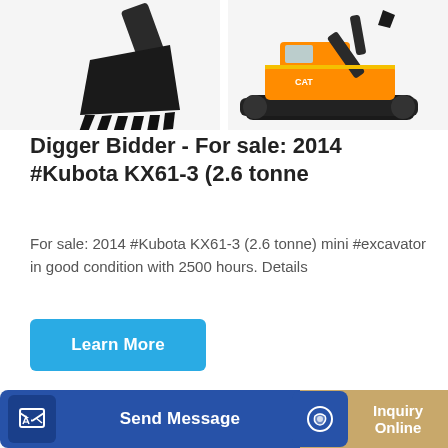[Figure (photo): Two construction excavator/digger images side by side at the top: left shows a close-up of a digger bucket/ripper attachment, right shows a full crawler excavator side view.]
Digger Bidder - For sale: 2014 #Kubota KX61-3 (2.6 tonne
For sale: 2014 #Kubota KX61-3 (2.6 tonne) mini #excavator in good condition with 2500 hours. Details
Learn More
[Figure (photo): A yellow SANY mini excavator shown at the bottom half of the page, partially cut off.]
Send Message
Inquiry Online